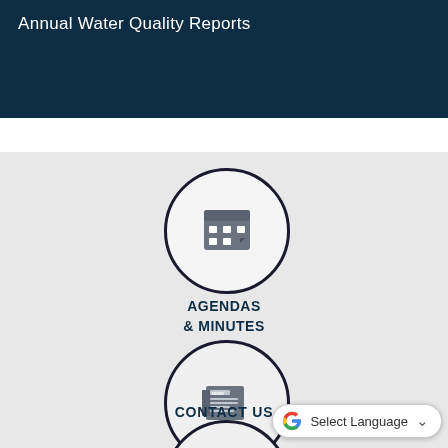Annual Water Quality Reports
[Figure (infographic): Circular icon with calendar/grid symbol for Agendas & Minutes section]
AGENDAS
& MINUTES
[Figure (infographic): Circular icon with newspaper symbol for Contact Us section]
CONTACT US
[Figure (infographic): Partial circular icon at bottom of page]
Select Language